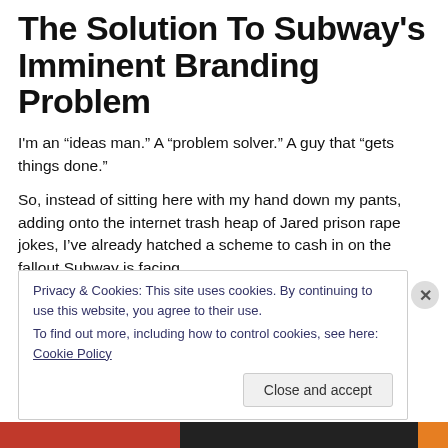The Solution To Subway's Imminent Branding Problem
I'm an “ideas man.” A “problem solver.” A guy that “gets things done.”
So, instead of sitting here with my hand down my pants, adding onto the internet trash heap of Jared prison rape jokes, I’ve already hatched a scheme to cash in on the fallout Subway is facing.
Here’s my pitch: we all know that a fat pervert can
Privacy & Cookies: This site uses cookies. By continuing to use this website, you agree to their use.
To find out more, including how to control cookies, see here: Cookie Policy